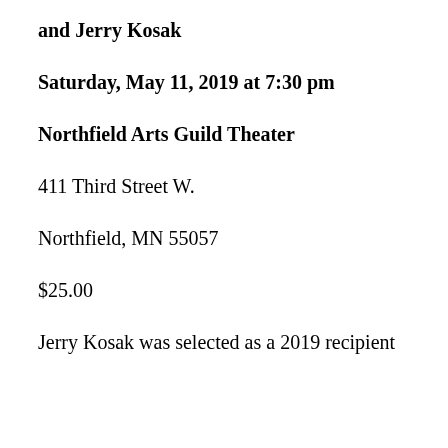and Jerry Kosak
Saturday, May 11, 2019 at 7:30 pm
Northfield Arts Guild Theater
411 Third Street W.
Northfield, MN 55057
$25.00
Jerry Kosak was selected as a 2019 recipient